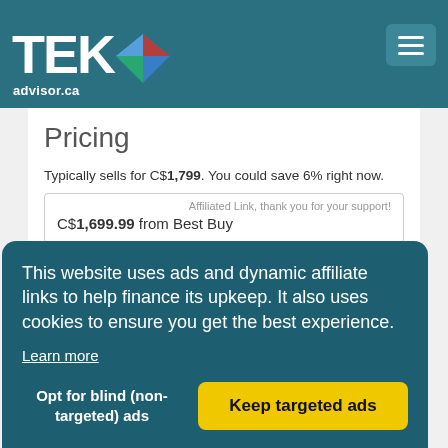TEKadvisor.ca
Pricing
Typically sells for C$1,799. You could save 6% right now.
| Affiliated Link, thank you for your support! |
| C$1,699.99 from Best Buy |
Detailed View
This website uses ads and dynamic affiliate links to help finance its upkeep. It also uses cookies to ensure you get the best experience.
Learn more
Opt for blind (non-targeted) ads
Keep targeted ads